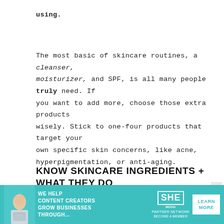using.
The most basic of skincare routines, a cleanser, moisturizer, and SPF, is all many people truly need. If you want to add more, choose those extra products wisely. Stick to one-four products that target your own specific skin concerns, like acne, hyperpigmentation, or anti-aging.
KNOW SKINCARE INGREDIENTS + WHAT THEY DO
It's easy to want to blindly jump on the latest trendy
[Figure (infographic): Advertisement banner for SHE Media Partner Network in teal/cyan color. Shows a woman with a laptop on the left, text 'WE HELP CONTENT CREATORS GROW BUSINESSES THROUGH...' in white, SHE Media logo in center, and a white 'LEARN MORE' button on the right. Bottom text reads 'BECOME A MEMBER'.]